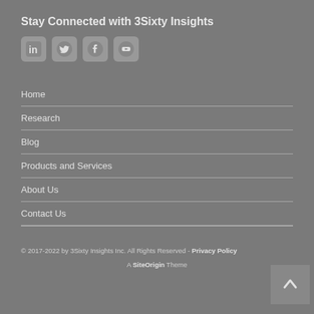Stay Connected with 3Sixty Insights
[Figure (illustration): Four social media icons: LinkedIn, Twitter, Facebook, YouTube]
Home
Research
Blog
Products and Services
About Us
Contact Us
© 2017-2022 by 3Sixty Insights Inc. All Rights Reserved - Privacy Policy
A SiteOrigin Theme